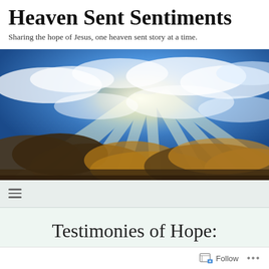Heaven Sent Sentiments
Sharing the hope of Jesus, one heaven sent story at a time.
[Figure (photo): Dramatic sky photo with blue sky, clouds, and light rays breaking through, with golden-lit clouds in the foreground.]
Testimonies of Hope: Icoze Mafella